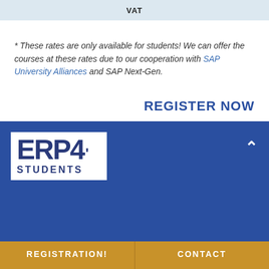| VAT |
| --- |
* These rates are only available for students! We can offer the courses at these rates due to our cooperation with SAP University Alliances and SAP Next-Gen.
REGISTER NOW
[Figure (logo): ERP4Students logo - white box with dark blue bold text 'ERP4' and 'STUDENTS' below]
REGISTRATION! | CONTACT